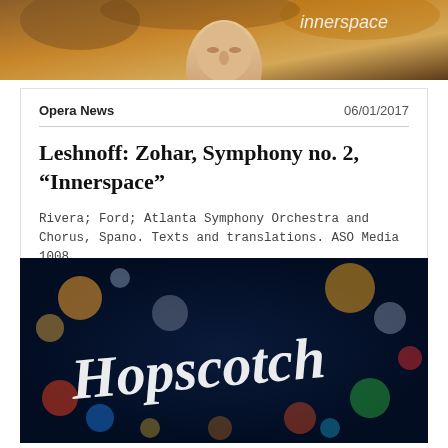[Figure (photo): Top portion of album artwork showing a person's face looking upward with 'innerspace' text overlay in warm golden/orange tones]
Opera News   06/01/2017
Leshnoff: Zohar, Symphony no. 2, “Innerspace”
Rivera; Ford; Atlanta Symphony Orchestra and Chorus, Spano. Texts and translations. ASO Media 1008
[Figure (photo): Night photography showing neon/bokeh light display with 'Hopscotch' written in white script lettering against dark blue background with colorful bokeh circles]